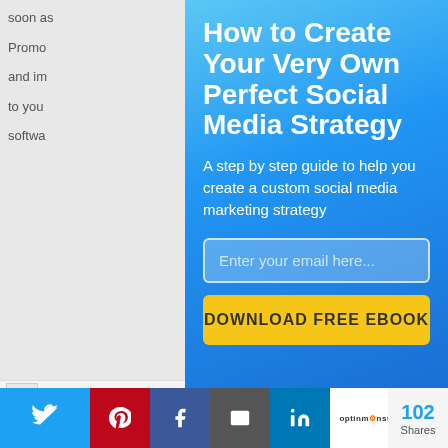soon as... Promo... and im... to you... softwa...
[Figure (screenshot): Popup/overlay modal on a website with a blue gradient background containing a headline, subtitle, email input field, and download button for a social media strategy ebook]
How to Create Your Very Own Perfect Social Media Strategy
A step by step guide to help you create a custom social media marketing strategy
Enter your email here...
DOWNLOAD FREE EBOOK
[Figure (screenshot): Social share bar at bottom with Twitter, Pinterest, Facebook, email, LinkedIn, OptinMonster buttons and a share count of 102]